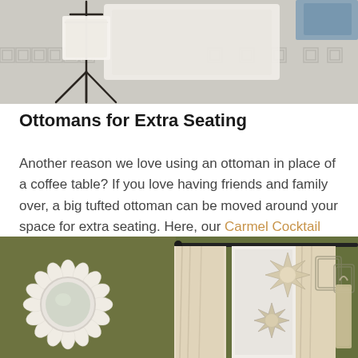[Figure (photo): Top portion of a room scene showing a patterned gray and white geometric rug with a black metal candle holder stand and white fabric/pillows on top.]
Ottomans for Extra Seating
Another reason we love using an ottoman in place of a coffee table? If you love having friends and family over, a big tufted ottoman can be moved around your space for extra seating. Here, our Carmel Cocktail Ottoman is upholstered in a super soft velvet for serious style and comfy seating.
[Figure (photo): Bottom portion showing a room with olive green walls, cream curtains on a black rod, a white sunburst/flower-shaped round mirror on the left, and star-shaped capiz shell pendant lights hanging near the curtains, plus decorative wire art on the right wall.]